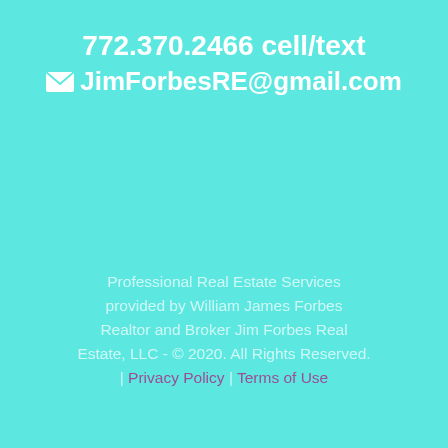772.370.2466 cell/text
✉ JimForbesRE@gmail.com
Professional Real Estate Services provided by William James Forbes Realtor and Broker Jim Forbes Real Estate, LLC - © 2020. All Rights Reserved. | Privacy Policy | Terms of Use